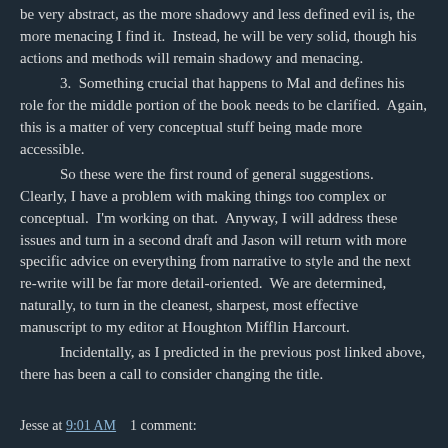be very abstract, as the more shadowy and less defined evil is, the more menacing I find it.  Instead, he will be very solid, though his actions and methods will remain shadowy and menacing.
    3.  Something crucial that happens to Mal and defines his role for the middle portion of the book needs to be clarified.  Again, this is a matter of very conceptual stuff being made more accessible.
    So these were the first round of general suggestions.  Clearly, I have a problem with making things too complex or conceptual.  I'm working on that.  Anyway, I will address these issues and turn in a second draft and Jason will return with more specific advice on everything from narrative to style and the next re-write will be far more detail-oriented.  We are determined, naturally, to turn in the cleanest, sharpest, most effective manuscript to my editor at Houghton Mifflin Harcourt.
    Incidentally, as I predicted in the previous post linked above, there has been a call to consider changing the title.
Jesse at 9:01 AM    1 comment: